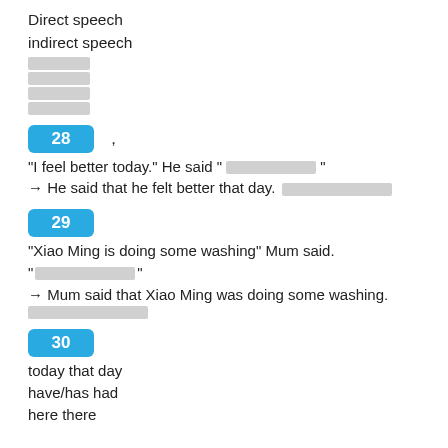Direct speech
indirect speech
[gray blocks - untranslated content]
28 [badge] , 
"I feel better today." He said " [gray] "
→ He said that he felt better that day. [gray blocks]
29 [badge]
"Xiao Ming is doing some washing" Mum said.
" [gray] "
→ Mum said that Xiao Ming was doing some washing.
[gray blocks]
30 [badge]
today that day
have/has had
here there